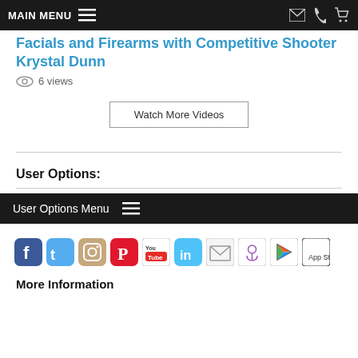MAIN MENU
Facials and Firearms with Competitive Shooter Krystal Dunn
6 views
Watch More Videos
User Options:
User Options Menu
[Figure (infographic): Row of social media icons: Facebook, Twitter, Instagram, Pinterest, YouTube, LinkedIn, Email, Podcast, Google Play, Apple App Store]
More Information